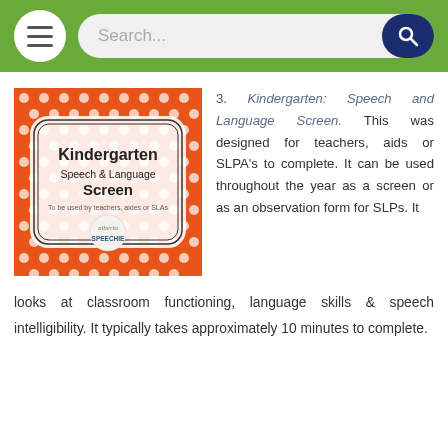[Figure (screenshot): Navigation bar with hamburger menu button, search input field, and search icon button on green background]
[Figure (illustration): Kindergarten Speech and Language Screen product thumbnail — orange polka dot background with decorative frame containing title text and Alberta Speechie logo]
3. Kindergarten: Speech and Language Screen. This was designed for teachers, aids or SLPA's to complete. It can be used throughout the year as a screen or as an observation form for SLPs. It looks at classroom functioning, language skills & speech intelligibility. It typically takes approximately 10 minutes to complete.